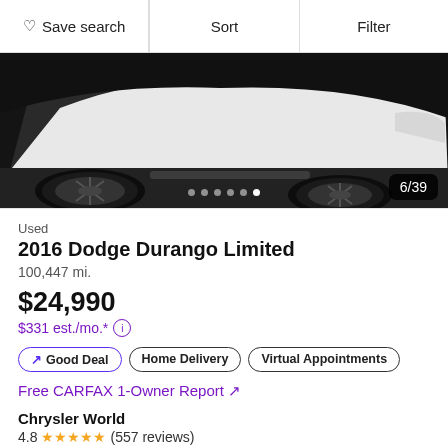Save search | Sort | Filter
[Figure (photo): Partial front/side view of a white 2016 Dodge Durango showing the wheel and lower front bumper against a dark/black background. Image counter 6/39 shown in bottom right.]
Used
2016 Dodge Durango Limited
100,447 mi.
$24,990
$331 est./mo.*
↗ Good Deal | Home Delivery | Virtual Appointments
Free CARFAX 1-Owner Report ↗
Chrysler World
4.8 ★★★★★ (557 reviews)
1 mi. from 54101